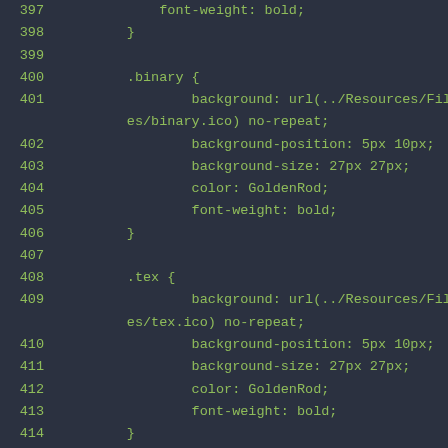[Figure (screenshot): Code editor screenshot showing CSS code with line numbers 397-417. Dark background with green monospace text. Shows CSS rules for .binary and .tex selectors with background, background-position, background-size, color: GoldenRod, and font-weight: bold properties, followed by the beginning of a .texte selector.]